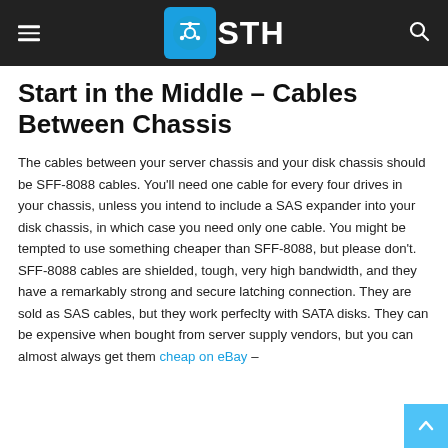STH
Start in the Middle – Cables Between Chassis
The cables between your server chassis and your disk chassis should be SFF-8088 cables. You'll need one cable for every four drives in your chassis, unless you intend to include a SAS expander into your disk chassis, in which case you need only one cable. You might be tempted to use something cheaper than SFF-8088, but please don't. SFF-8088 cables are shielded, tough, very high bandwidth, and they have a remarkably strong and secure latching connection. They are sold as SAS cables, but they work perfeclty with SATA disks. They can be expensive when bought from server supply vendors, but you can almost always get them cheap on eBay –